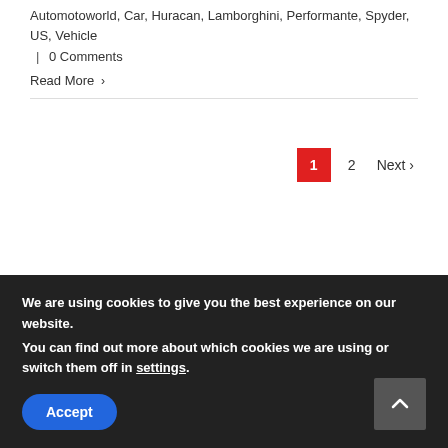Automotoworld, Car, Huracan, Lamborghini, Performante, Spyder, US, Vehicle | 0 Comments
Read More >
1 2 Next >
We are using cookies to give you the best experience on our website.
You can find out more about which cookies we are using or switch them off in settings.
Accept